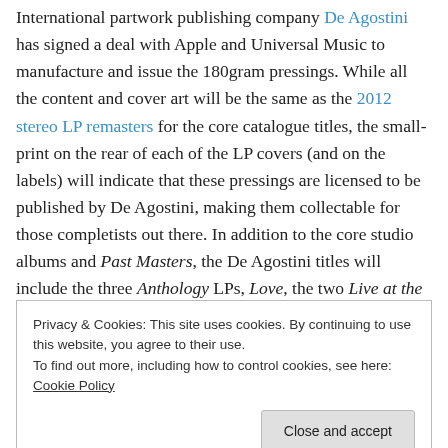International partwork publishing company De Agostini has signed a deal with Apple and Universal Music to manufacture and issue the 180gram pressings. While all the content and cover art will be the same as the 2012 stereo LP remasters for the core catalogue titles, the small-print on the rear of each of the LP covers (and on the labels) will indicate that these pressings are licensed to be published by De Agostini, making them collectable for those completists out there. In addition to the core studio albums and Past Masters, the De Agostini titles will include the three Anthology LPs, Love, the two Live at the
Privacy & Cookies: This site uses cookies. By continuing to use this website, you agree to their use. To find out more, including how to control cookies, see here: Cookie Policy
Howlett detailing the background to the recording.